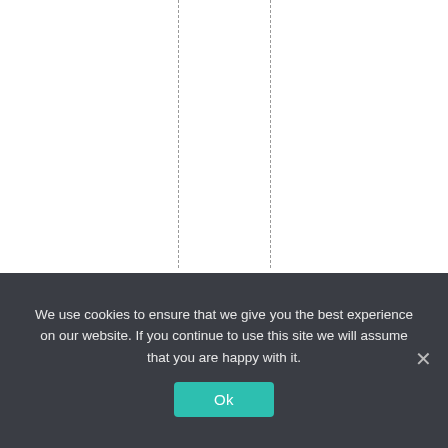espitement,steel
We use cookies to ensure that we give you the best experience on our website. If you continue to use this site we will assume that you are happy with it. Ok